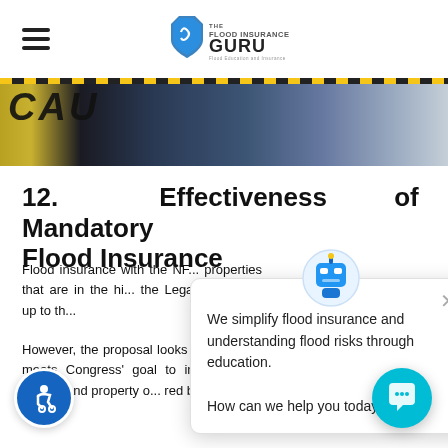The Flood Insurance Guru - Flood Education and Insurance
[Figure (photo): Caution tape over dark blue/grey flooded background]
12. Effectiveness of Mandatory Flood Insurance
Flood insurance with the NF... properties that are in the hi... the Legacy Program up to th...
However, the proposal looks ... it comes to mandatory flood insurance meets Congress' goal to increase the number of residents, both renters and property ... red by flood insurance in low-income areas.